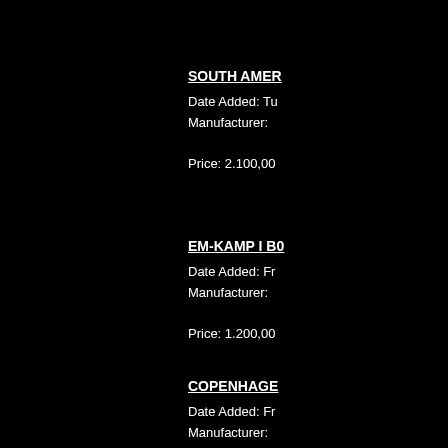SOUTH AMER...
Date Added: Tu...
Manufacturer:

Price: 2.100,00...
EM-KAMP I B0...
Date Added: Fr...
Manufacturer:

Price: 1.200,00...
COPENHAGE...
Date Added: Fr...
Manufacturer:

Price: 900,00kr...